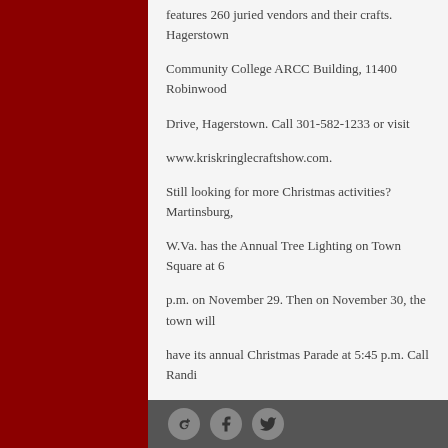features 260 juried vendors and their crafts. Hagerstown Community College ARCC Building, 11400 Robinwood Drive, Hagerstown. Call 301-582-1233 or visit www.kriskringlecraftshow.com.
Still looking for more Christmas activities? Martinsburg, W.Va. has the Annual Tree Lighting on Town Square at 6 p.m. on November 29. Then on November 30, the town will have its annual Christmas Parade at 5:45 p.m. Call Randi Lewis of Main Street Martinsburg at 304-262-4200 for more information. That same weekend neighboring Shepherdstown, W.Va. will have its Christmas in Shepherdstown activities. Call the Visitorâ€™s Center at 304-876-2786 for details.
[Figure (other): Social media icons row: Google+, Facebook, Twitter on dark grey footer bar]